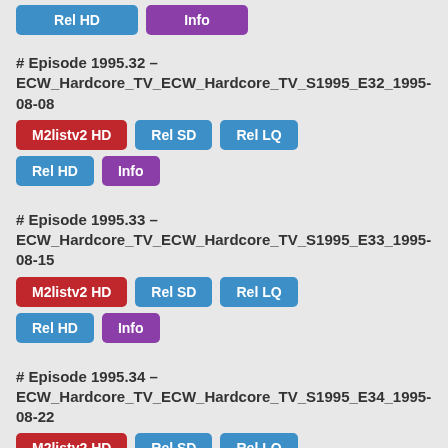[Figure (other): Partial top buttons: blue button (truncated) and purple button (truncated)]
# Episode 1995.32 – ECW_Hardcore_TV_ECW_Hardcore_TV_S1995_E32_1995-08-08
[Figure (other): Buttons: M2listv2 HD (red), Rel SD (blue), Rel LQ (blue), Rel HD (blue), Info (purple)]
# Episode 1995.33 – ECW_Hardcore_TV_ECW_Hardcore_TV_S1995_E33_1995-08-15
[Figure (other): Buttons: M2listv2 HD (red), Rel SD (blue), Rel LQ (blue), Rel HD (blue), Info (purple)]
# Episode 1995.34 – ECW_Hardcore_TV_ECW_Hardcore_TV_S1995_E34_1995-08-22
[Figure (other): Buttons: M2listv2 HD (red), Rel SD (blue), Rel LQ (blue) - partial]